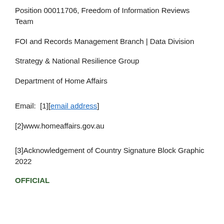Position 00011706, Freedom of Information Reviews Team
FOI and Records Management Branch | Data Division
Strategy & National Resilience Group
Department of Home Affairs
Email:  [1][email address]
[2]www.homeaffairs.gov.au
[3]Acknowledgement of Country Signature Block Graphic 2022
OFFICIAL